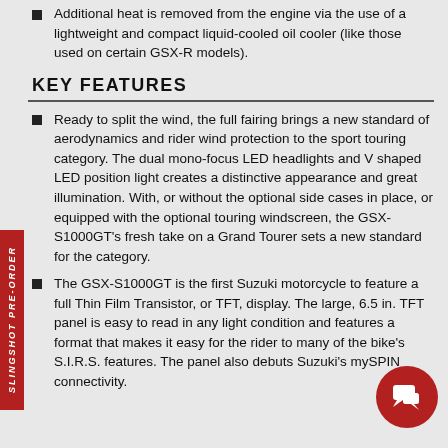Additional heat is removed from the engine via the use of a lightweight and compact liquid-cooled oil cooler (like those used on certain GSX-R models).
KEY FEATURES
Ready to split the wind, the full fairing brings a new standard of aerodynamics and rider wind protection to the sport touring category. The dual mono-focus LED headlights and V shaped LED position light creates a distinctive appearance and great illumination. With, or without the optional side cases in place, or equipped with the optional touring windscreen, the GSX-S1000GT's fresh take on a Grand Tourer sets a new standard for the category.
The GSX-S1000GT is the first Suzuki motorcycle to feature a full Thin Film Transistor, or TFT, display. The large, 6.5 in. TFT panel is easy to read in any light condition and features a format that makes it easy for the rider to many of the bike's S.I.R.S. features. The panel also debuts Suzuki's mySPIN connectivity.